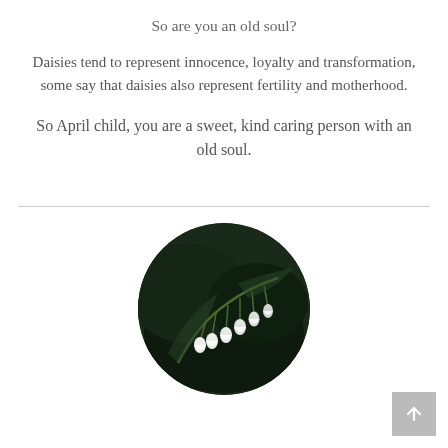So are you an old soul?
Daisies tend to represent innocence, loyalty and transformation, some say that daisies also represent fertility and motherhood.
So April child, you are a sweet, kind caring person with an old soul.
[Figure (photo): Circular cropped photo of lily of the valley flowers with white bell-shaped blooms hanging from a stem, against a dark green background.]